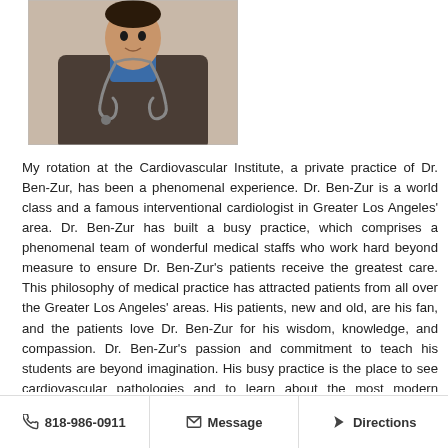[Figure (photo): Photo of a doctor wearing a stethoscope and dark scrubs/jacket]
My rotation at the Cardiovascular Institute, a private practice of Dr. Ben-Zur, has been a phenomenal experience. Dr. Ben-Zur is a world class and a famous interventional cardiologist in Greater Los Angeles' area. Dr. Ben-Zur has built a busy practice, which comprises a phenomenal team of wonderful medical staffs who work hard beyond measure to ensure Dr. Ben-Zur's patients receive the greatest care. This philosophy of medical practice has attracted patients from all over the Greater Los Angeles' areas. His patients, new and old, are his fan, and the patients love Dr. Ben-Zur for his wisdom, knowledge, and compassion. Dr. Ben-Zur's passion and commitment to teach his students are beyond imagination. His busy practice is the place to see cardiovascular pathologies and to learn about the most modern technologies used to diagnose and treat cardiovascular related problems. Students will learn
818-986-0911   Message   Directions